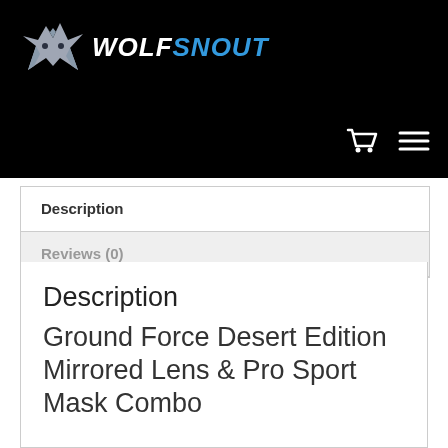WOLFSNOUT
Description
Reviews (0)
Description
Ground Force Desert Edition Mirrored Lens & Pro Sport Mask Combo